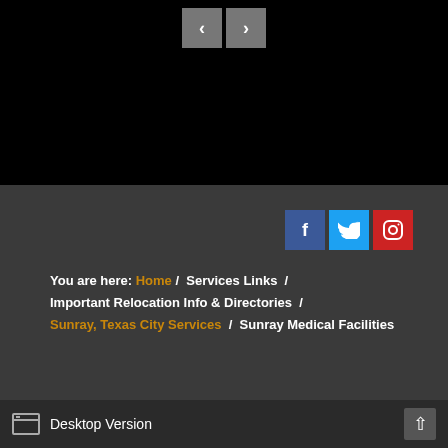[Figure (screenshot): Navigation arrow buttons (left and right chevrons) on black background]
[Figure (screenshot): Social media icons: Facebook (blue), Twitter (light blue), Instagram (red)]
You are here: Home / Services Links / Important Relocation Info & Directories / Sunray, Texas City Services / Sunray Medical Facilities
Copyright © 2022. Dumas Moore County Chamber of Commerce. All rights reserved. - Hosted with ♥ by Webextant.com
Desktop Version